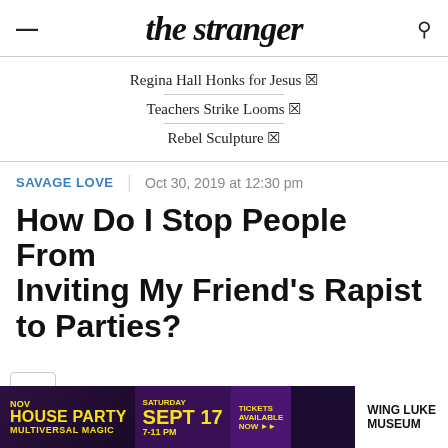the stranger
Regina Hall Honks for Jesus ☒
Teachers Strike Looms ☒
Rebel Sculpture ☒
SAVAGE LOVE | Oct 30, 2019 at 12:30 pm
How Do I Stop People From Inviting My Friend's Rapist to Parties?
[Figure (screenshot): Advertisement banner for House Party Multiversal Magic event, Saturday Sept 17, 7-11 PM, tickets available now, Wing Luke Museum]